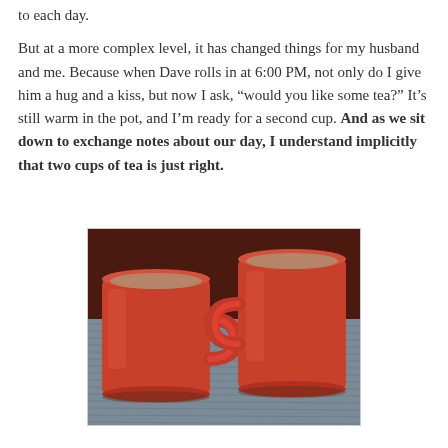to each day.

But at a more complex level, it has changed things for my husband and me. Because when Dave rolls in at 6:00 PM, not only do I give him a hug and a kiss, but now I ask, “would you like some tea?” It’s still warm in the pot, and I’m ready for a second cup. And as we sit down to exchange notes about our day, I understand implicitly that two cups of tea is just right.
[Figure (photo): Two red ceramic mugs with handles touching, filled with tea, placed on a gray textured surface.]